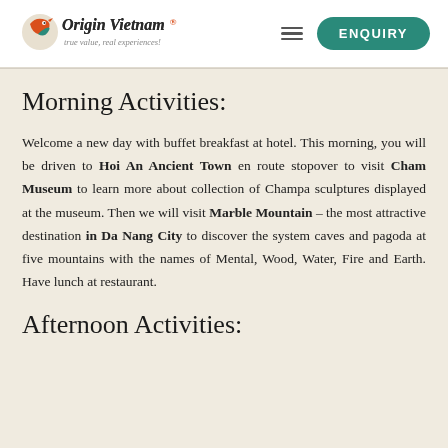[Figure (logo): Origin Vietnam logo with bird/globe icon in orange/red and teal, tagline: true value, real experiences!]
Morning Activities:
Welcome a new day with buffet breakfast at hotel. This morning, you will be driven to Hoi An Ancient Town en route stopover to visit Cham Museum to learn more about collection of Champa sculptures displayed at the museum. Then we will visit Marble Mountain – the most attractive destination in Da Nang City to discover the system caves and pagoda at five mountains with the names of Mental, Wood, Water, Fire and Earth. Have lunch at restaurant.
Afternoon Activities: